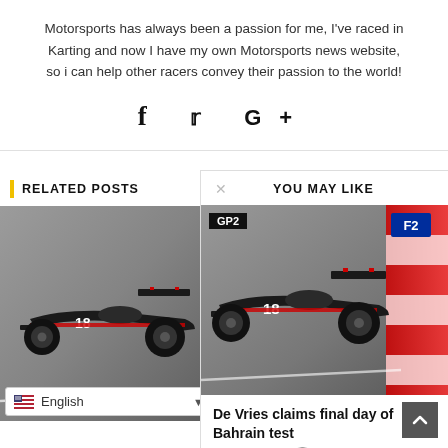Motorsports has always been a passion for me, I've raced in Karting and now I have my own Motorsports news website, so i can help other racers convey their passion to the world!
[Figure (other): Social media icons: Facebook (f), Twitter (bird), Google+ (G+)]
RELATED POSTS
[Figure (photo): Black Formula 2 / GP2 racing car number 18 on track, close-up side view]
YOU MAY LIKE
[Figure (photo): Black GP2/F2 racing car number 18 on track with red and white barriers in background, F2 logo visible]
De Vries claims final day of Bahrain test
March 31, 2017  0